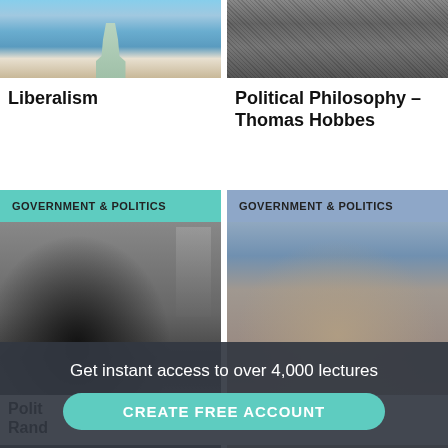[Figure (photo): Statue of Liberty photo (top portion, blue sky background) - left card]
Liberalism
[Figure (photo): Thomas Hobbes bust sculpture with detailed engraving texture - right card]
Political Philosophy – Thomas Hobbes
[Figure (photo): Black and white photo of a woman with city buildings in background, labeled GOVERNMENT & POLITICS]
[Figure (photo): Color photo of an older man with large glasses, city in background, labeled GOVERNMENT & POLITICS]
Get instant access to over 4,000 lectures
CREATE FREE ACCOUNT
Polit
Rand
–